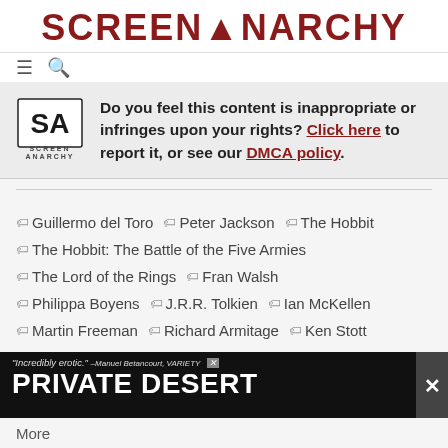SCREENANARCHY
Do you feel this content is inappropriate or infringes upon your rights? Click here to report it, or see our DMCA policy.
Guillermo del Toro
Peter Jackson
The Hobbit
The Hobbit: The Battle of the Five Armies
The Lord of the Rings
Fran Walsh
Philippa Boyens
J.R.R. Tolkien
Ian McKellen
Martin Freeman
Richard Armitage
Ken Stott
Adventure
Fantasy
[Figure (screenshot): Advertisement banner: 'Incredibly erotic.' —Manuel Betancourt, VARIETY | PRIVATE DESERT]